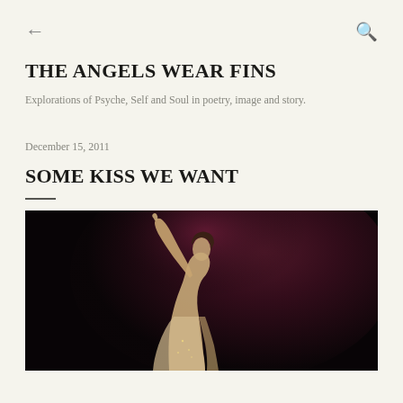← (back) Q (search)
THE ANGELS WEAR FINS
Explorations of Psyche, Self and Soul in poetry, image and story.
December 15, 2011
SOME KISS WE WANT
[Figure (photo): A woman with arm raised upward against a dark, deep purple-black background, wearing a light dress, photographed in a dramatic, ethereal style.]